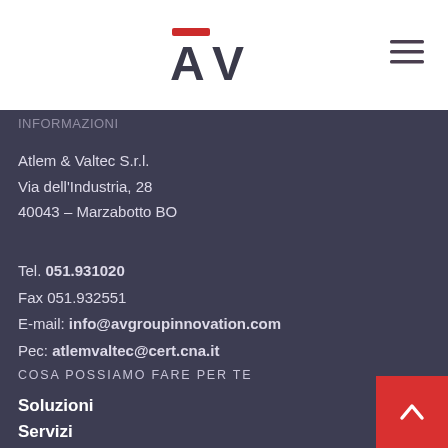[Figure (logo): AV logo with red accent on top of letters A and V in dark gray]
[Figure (other): Hamburger menu icon with three horizontal lines]
INFORMAZIONI
Atlem & Valtec S.r.l.
Via dell'Industria, 28
40043 – Marzabotto BO
Tel. 051.931020
Fax 051.932551
E-mail: info@avgroupinnovation.com
Pec: atlemvaltec@cert.cna.it
COSA POSSIAMO FARE PER TE
Soluzioni
Servizi